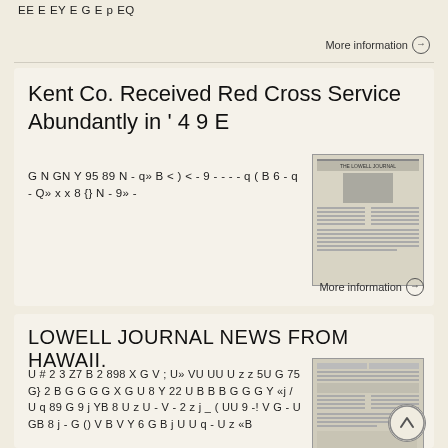EE E EY E G E p EQ
More information →
Kent Co. Received Red Cross Service Abundantly in ' 4 9 E
G N GN Y 95 89 N - q» B < ) < - 9 - - - - q ( B 6 - q - Q» x x 8 {} N - 9» -
[Figure (photo): Thumbnail image of a newspaper page, appears to be The Lowell Journal]
More information →
LOWELL JOURNAL NEWS FROM HAWAII.
U # 2 3 Z7 B 2 898 X G V ; U» VU UU U z z 5U G 75 G} 2 B G G G G X G U 8 Y 22 U B B B G G G Y «j / U q 89 G 9 j YB 8 U z U - V - 2 z j _ ( UU 9 -! V G - U GB 8 j - G () V B V Y 6 G B j U U q - U z «B
[Figure (photo): Thumbnail image of Lowell Journal newspaper from Hawaii]